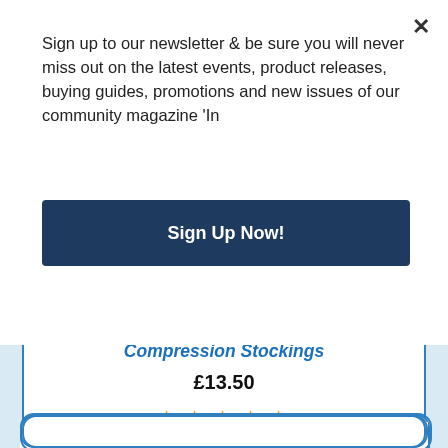Sign up to our newsletter & be sure you will never miss out on the latest events, product releases, buying guides, promotions and new issues of our community magazine 'In
Sign Up Now!
Duomed Soft Class 1 Below Knee Compression Stockings
£13.50
[Figure (other): Five gold star rating icons]
[Figure (photo): Photo of a leg wearing a black below-knee compression stocking]